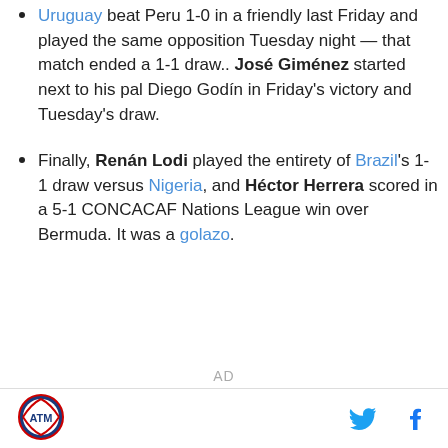Uruguay beat Peru 1-0 in a friendly last Friday and played the same opposition Tuesday night — that match ended a 1-1 draw.. José Giménez started next to his pal Diego Godín in Friday's victory and Tuesday's draw.
Finally, Renán Lodi played the entirety of Brazil's 1-1 draw versus Nigeria, and Héctor Herrera scored in a 5-1 CONCACAF Nations League win over Bermuda. It was a golazo.
AD